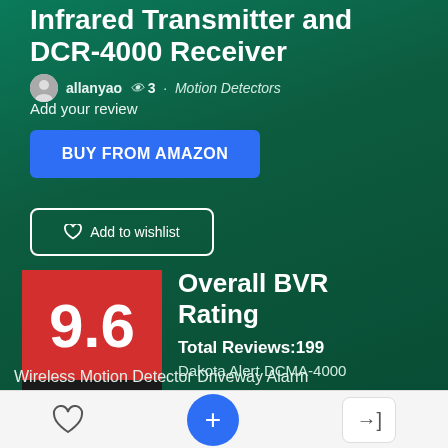Infrared Transmitter and DCR-4000 Receiver
allanyao  3 · Motion Detectors
Add your review
BUY FROM AMAZON
Add to wishlist
[Figure (infographic): Red and black expert score badge showing 9.6 rating with EXPERT SCORE label below]
Overall BVR Rating
Total Reviews:199
Dakota Alert DCMA-4000
Wireless Motion Detector Driveway Alarm